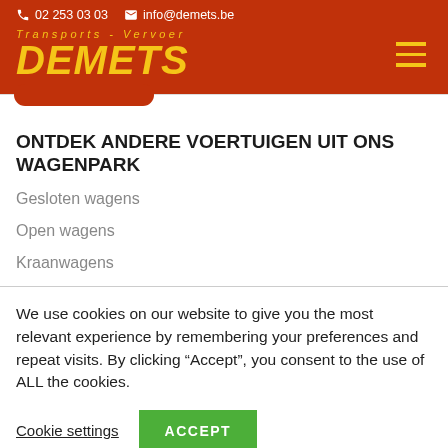02 253 03 03   info@demets.be   Transports - Vervoer DEMETS
ONTDEK ANDERE VOERTUIGEN UIT ONS WAGENPARK
Gesloten wagens
Open wagens
Kraanwagens
We use cookies on our website to give you the most relevant experience by remembering your preferences and repeat visits. By clicking “Accept”, you consent to the use of ALL the cookies.
Cookie settings   ACCEPT